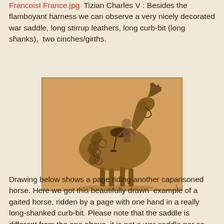FrancoisI France.jpg  Tizian Charles V : Besides the flamboyant harness we can observe a very nicely decorated war saddle, long stirrup leathers, long curb-bit (long shanks),  two cinches/girths.
[Figure (illustration): A historical drawing of a caparisoned horse with elaborate decorative harness, a war saddle, and a figure standing beside the horse. The drawing is rendered in sepia/golden-brown tones, showing intricate decorative patterns on the horse's caparison.]
Drawing below shows a page riding another caparisoned horse. Here we got this beautifully drawn  example of a gaited horse, ridden by a page with one hand in a really long-shanked curb-bit. Please note that the saddle is different from the one above, it is not a war saddle per se, as it seems to lack the extended thigh protectors characteristic...